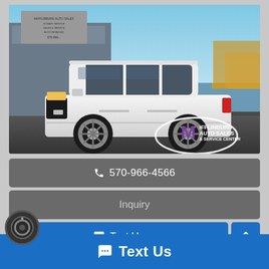[Figure (photo): White Chevrolet Tahoe SUV parked in front of a dealership building. Mifflinburg Auto Sales & Service Center logo visible in lower right of photo.]
📞 570-966-4566
Inquiry
💬 Text Us
💬 Text Us